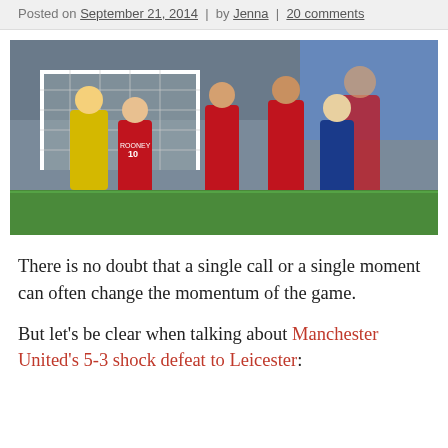Posted on September 21, 2014 | by Jenna | 20 comments
[Figure (photo): Football match scene showing Manchester United players in red jerseys and a goalkeeper in yellow near the goal, with Leicester City players in blue celebrating, crowd visible in the background.]
There is no doubt that a single call or a single moment can often change the momentum of the game.
But let’s be clear when talking about Manchester United’s 5-3 shock defeat to Leicester: